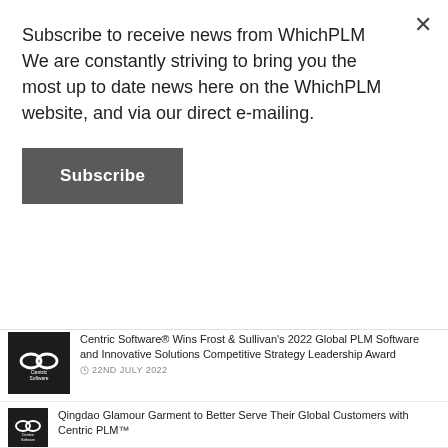Subscribe to receive news from WhichPLM We are constantly striving to bring you the most up to date news here on the WhichPLM website, and via our direct e-mailing.
Subscribe
22ND JULY 2022
[Figure (logo): Centric Software logo — white infinity-like double circle on black background]
Centric Software® Wins Frost & Sullivan's 2022 Global PLM Software and Innovative Solutions Competitive Strategy Leadership Award
22ND JULY 2022
[Figure (logo): Centric Software logo — white infinity-like double circle on black background]
Qingdao Glamour Garment to Better Serve Their Global Customers with Centric PLM™
19TH JULY 2022
[Figure (logo): Centric Software logo — white infinity-like double circle on black background]
4T2D Starts Off on the Right Foot by Choosing Centric PLM™ for Efficiency Prior to Launch
12TH JULY 2022
[Figure (logo): Aptos logo — colorful text logo]
Lindex Selects Aptos PLM for Faster and More Sustainable Product Development